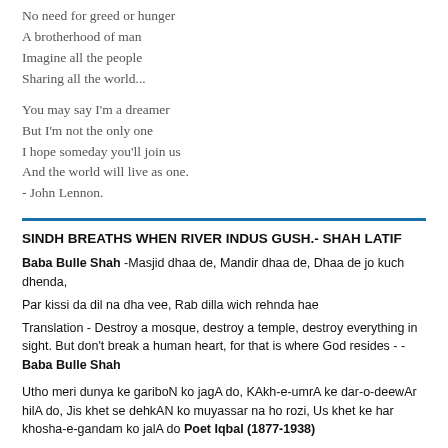No need for greed or hunger
A brotherhood of man
Imagine all the people
Sharing all the world...

You may say I'm a dreamer
But I'm not the only one
I hope someday you'll join us
And the world will live as one.
- John Lennon.
SINDH BREATHS WHEN RIVER INDUS GUSH.- SHAH LATIF
Baba Bulle Shah -Masjid dhaa de, Mandir dhaa de, Dhaa de jo kuch dhenda,
Par kissi da dil na dha vee, Rab dilla wich rehnda hae
Translation - Destroy a mosque, destroy a temple, destroy everything in sight. But don't break a human heart, for that is where God resides - -Baba Bulle Shah
Utho meri dunya ke gariboN ko jagA do, KAkh-e-umrA ke dar-o-deewAr hilA do, Jis khet se dehkAN ko muyassar na ho rozi, Us khet ke har khosha-e-gandam ko jalA do Poet Iqbal (1877-1938)